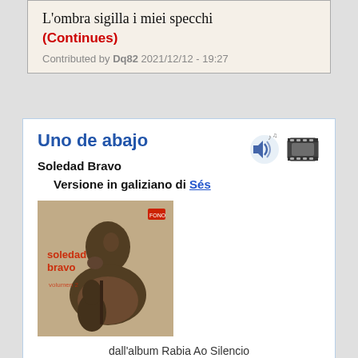L'ombra sigilla i miei specchi
(Continues)
Contributed by Dq82 2021/12/12 - 19:27
Uno de abajo
Soledad Bravo
Versione in galiziano di Sés
[Figure (photo): Album cover of Soledad Bravo showing a young person playing guitar, with red text 'soledad bravo' on the cover]
dall'album Rabia Ao Silencio